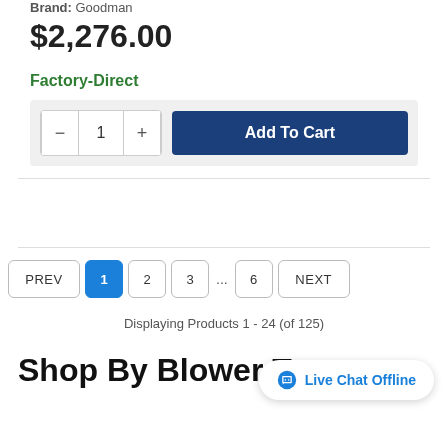Brand: Goodman
$2,276.00
Factory-Direct
Add To Cart (quantity control: – 1 +)
Displaying Products 1 - 24 (of 125)
Shop By Blower Type
Live Chat Offline